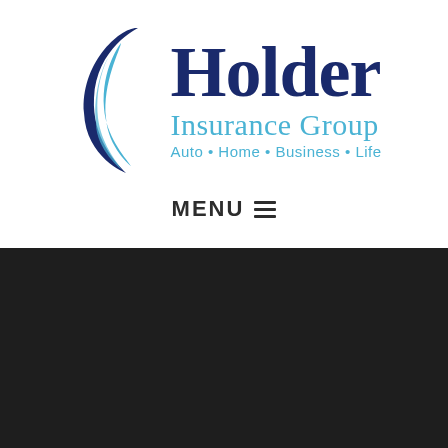[Figure (logo): Holder Insurance Group logo with stylized blue swoosh/flame graphic on the left, 'Holder' in large dark navy serif font, 'Insurance Group' in medium light blue serif font, and 'Auto • Home • Business • Life' tagline in light blue sans-serif font below]
MENU ☰